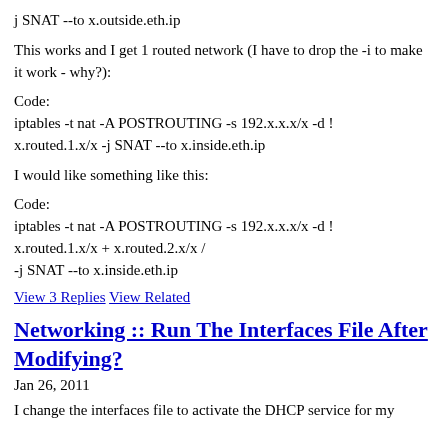j SNAT --to x.outside.eth.ip
This works and I get 1 routed network (I have to drop the -i to make it work - why?):
Code:
iptables -t nat -A POSTROUTING -s 192.x.x.x/x -d !
x.routed.1.x/x -j SNAT --to x.inside.eth.ip
I would like something like this:
Code:
iptables -t nat -A POSTROUTING -s 192.x.x.x/x -d !
x.routed.1.x/x + x.routed.2.x/x /
-j SNAT --to x.inside.eth.ip
View 3 Replies   View Related
Networking :: Run The Interfaces File After Modifying?
Jan 26, 2011
I change the interfaces file to activate the DHCP service for my